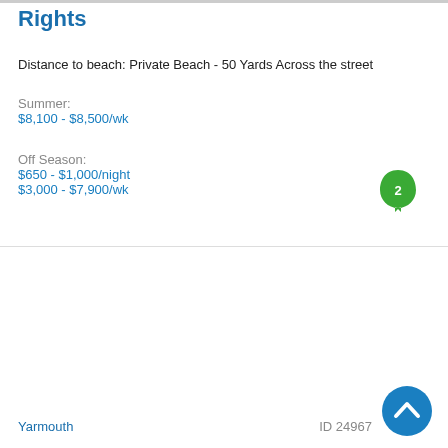Rights
Distance to beach: Private Beach - 50 Yards Across the street
Summer:
$8,100 - $8,500/wk
Off Season:
$650 - $1,000/night
$3,000 - $7,900/wk
[Figure (illustration): Green leaf-shaped badge with number 2 inside]
[Figure (illustration): Blue circular scroll-to-top button with upward chevron arrow]
Yarmouth    ID 24967